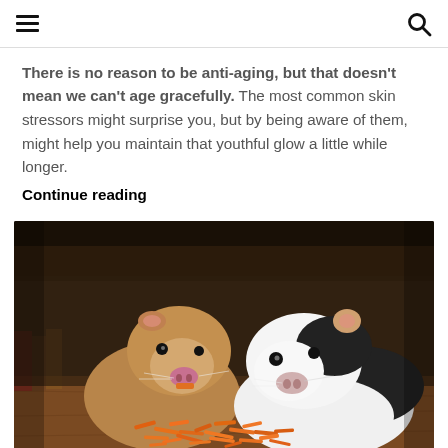There is no reason to be anti-aging, but that doesn't mean we can't age gracefully. The most common skin stressors might surprise you, but by being aware of them, might help you maintain that youthful glow a little while longer.
Continue reading
[Figure (photo): Two guinea pigs on a wooden floor eating shredded carrots. The left guinea pig is brown/tan with a lighter face and has a piece of carrot in its mouth. The right guinea pig is white and black. There is a pile of shredded orange carrots in front of them. Background is blurred showing books and furniture.]